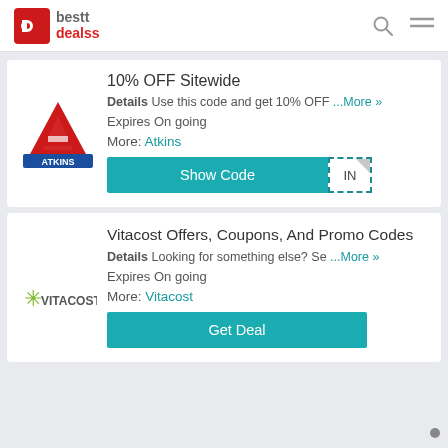[Figure (logo): bestt dealss logo with red square b icon]
10% OFF Sitewide
Details Use this code and get 10% OFF ...More »
Expires On going
More: Atkins
[Figure (logo): Atkins brand logo with red triangle A on blue banner]
Vitacost Offers, Coupons, And Promo Codes
Details Looking for something else? Se ...More »
Expires On going
More: Vitacost
[Figure (logo): Vitacost logo with green star]